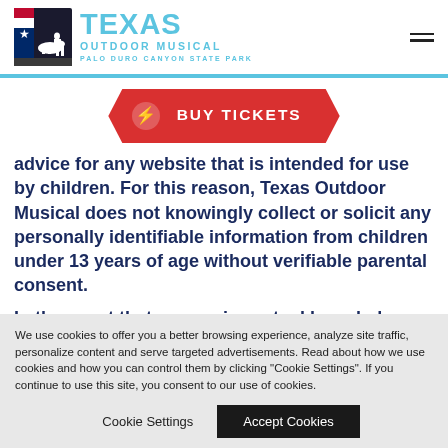[Figure (logo): Texas Outdoor Musical logo with cowboy on horseback silhouette and Texas flag, with text TEXAS OUTDOOR MUSICAL PALO DURO CANYON STATE PARK in blue]
[Figure (other): Red ticket-shaped BUY TICKETS button with lightning bolt icon]
advice for any website that is intended for use by children. For this reason, Texas Outdoor Musical does not knowingly collect or solicit any personally identifiable information from children under 13 years of age without verifiable parental consent.
In the event that we receive actual knowledge that we have collected such personal information without the
We use cookies to offer you a better browsing experience, analyze site traffic, personalize content and serve targeted advertisements. Read about how we use cookies and how you can control them by clicking "Cookie Settings". If you continue to use this site, you consent to our use of cookies.